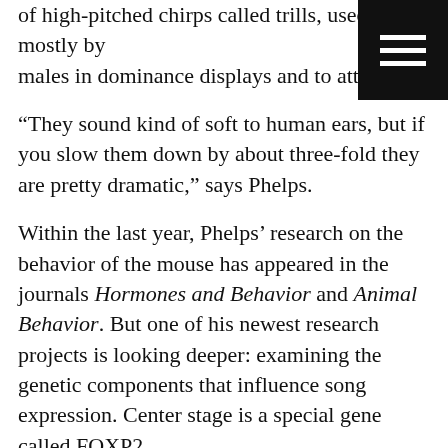of high-pitched chirps called trills, used mostly by males in dominance displays and to attract ma
[Figure (other): Black square menu button with three horizontal white lines (hamburger icon) in top-right corner]
“They sound kind of soft to human ears, but if you slow them down by about three-fold they are pretty dramatic,” says Phelps.
Within the last year, Phelps’ research on the behavior of the mouse has appeared in the journals Hormones and Behavior and Animal Behavior. But one of his newest research projects is looking deeper: examining the genetic components that influence song expression. Center stage is a special gene called FOXP2.
“FOXP2 is famous because it’s the only gene that’s been implicated in human speech disorders